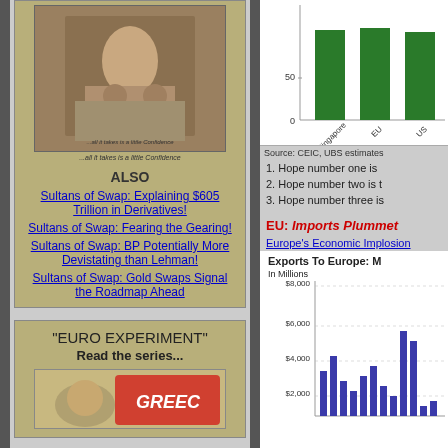[Figure (photo): Movie poster style image with figures seated, with caption text below]
...all it takes is a little Confidence
ALSO
Sultans of Swap: Explaining $605 Trillion in Derivatives!
Sultans of Swap: Fearing the Gearing!
Sultans of Swap: BP Potentially More Devistating than Lehman!
Sultans of Swap: Gold Swaps Signal the Roadmap Ahead
"EURO EXPERIMENT" Read the series...
[Figure (photo): Grease movie styled image for Euro Experiment series]
[Figure (bar-chart): Bar chart showing Singapore, EU, US values around 50+]
Source: CEIC, UBS estimates
1. Hope number one is
2. Hope number two is
3. Hope number three is
EU: Imports Plummet
Europe's Economic Implosion
[Figure (bar-chart): Bar chart with values from $2,000 to $8,000 showing exports to Europe over time]